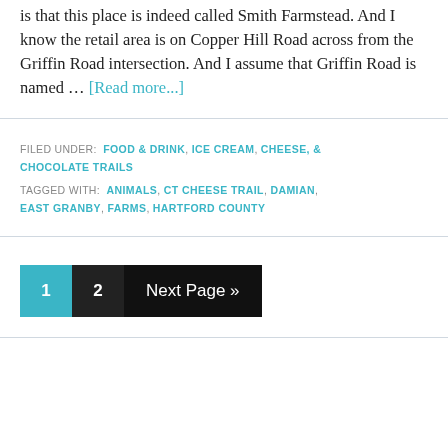is that this place is indeed called Smith Farmstead. And I know the retail area is on Copper Hill Road across from the Griffin Road intersection. And I assume that Griffin Road is named ... [Read more...]
FILED UNDER: FOOD & DRINK, ICE CREAM, CHEESE, & CHOCOLATE TRAILS
TAGGED WITH: ANIMALS, CT CHEESE TRAIL, DAMIAN, EAST GRANBY, FARMS, HARTFORD COUNTY
1 2 Next Page »